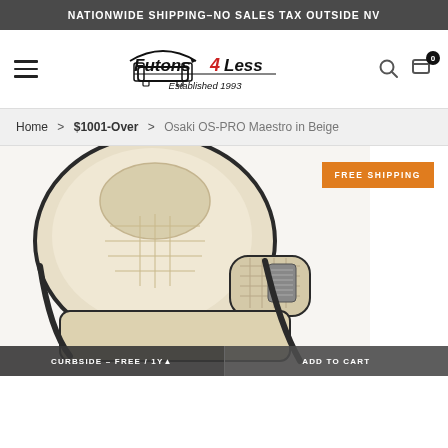NATIONWIDE SHIPPING–NO SALES TAX OUTSIDE NV
[Figure (logo): Futons 4 Less logo with sofa icon, Established 1993]
Home > $1001-Over > Osaki OS-PRO Maestro in Beige
[Figure (photo): Beige Osaki OS-PRO Maestro massage chair, side/front view showing padded armrest and headrest]
FREE SHIPPING
CURBSIDE – FREE / 1Y...
ADD TO CART